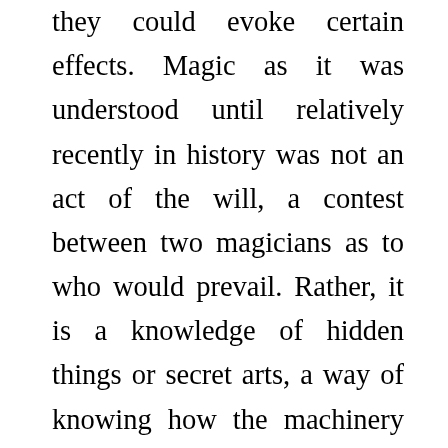they could evoke certain effects. Magic as it was understood until relatively recently in history was not an act of the will, a contest between two magicians as to who would prevail. Rather, it is a knowledge of hidden things or secret arts, a way of knowing how the machinery of the world works, so that by using particular things in a particular way at a particular time, a specific effect would result. For the modern mind, this is difficult to accept, because society no longer believes in remote causation, that is, in a relationship of cause and effect which is not immediately apparent. But it is one th